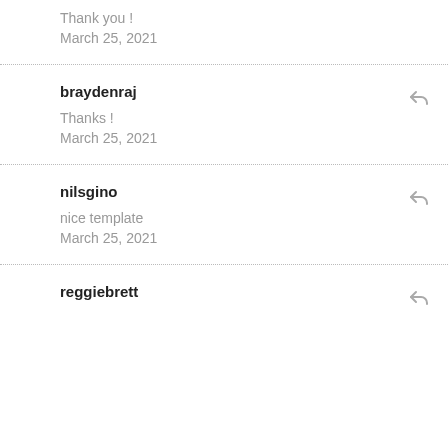Thank you !
March 25, 2021
braydenraj
Thanks !
March 25, 2021
nilsgino
nice template
March 25, 2021
reggiebrett